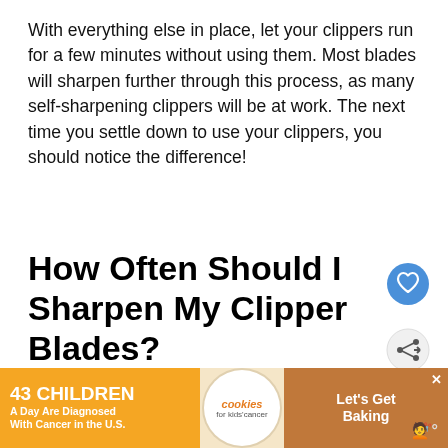With everything else in place, let your clippers run for a few minutes without using them. Most blades will sharpen further through this process, as many self-sharpening clippers will be at work. The next time you settle down to use your clippers, you should notice the difference!
How Often Should I Sharpen My Clipper Blades?
[Figure (other): Blue circular heart/favorite icon button]
[Figure (other): Grey circular share icon button with plus symbol]
[Figure (other): What's Next widget: circular thumbnail of hair clipper blades, label 'WHAT'S NEXT → The 7 Best Hair Clipper...']
C... different ... hair cl... m at...
[Figure (infographic): Advertisement banner: '43 CHILDREN A Day Are Diagnosed With Cancer in the U.S.' with cookies for kids cancer logo and 'Let's Get Baking' call to action on brown/orange background]